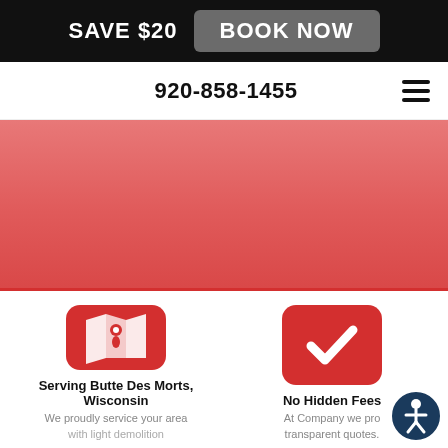SAVE $20  BOOK NOW
920-858-1455
[Figure (illustration): Red/pink hero banner area]
[Figure (illustration): Red rounded square icon with map/location pin symbol]
Serving Butte Des Morts, Wisconsin
We proudly service your area with light demolition
[Figure (illustration): Red rounded square icon with white checkmark]
No Hidden Fees
At Company we pro transparent quotes.
[Figure (illustration): Dark blue accessibility icon (person in circle) overlay in bottom-right]